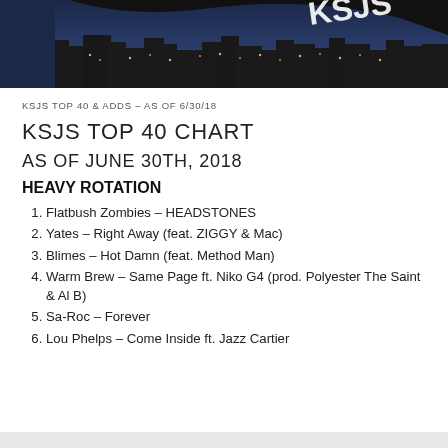[Figure (photo): Nighttime city skyline photo with a large black flag/banner silhouette in the foreground bearing white text 'KSJS']
KSJS TOP 40 & ADDS – AS OF 6/30/18
KSJS TOP 40 CHART
AS OF JUNE 30TH, 2018
HEAVY ROTATION
Flatbush Zombies – HEADSTONES
Yates – Right Away (feat. ZIGGY & Mac)
Blimes – Hot Damn (feat. Method Man)
Warm Brew – Same Page ft. Niko G4 (prod. Polyester The Saint & Al B)
Sa-Roc – Forever
Lou Phelps – Come Inside ft. Jazz Cartier